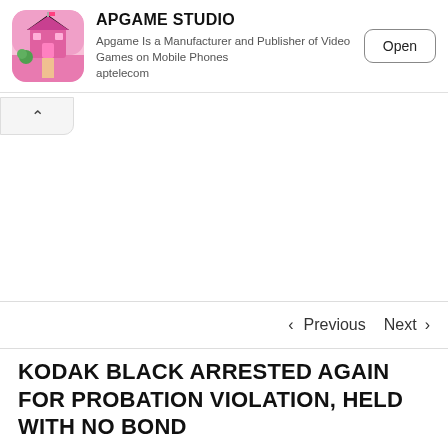[Figure (screenshot): APGAME STUDIO app store advertisement banner with cartoon game icon (pink building/mansion scene), title 'APGAME STUDIO', description text, and Open button]
< Previous   Next >
KODAK BLACK ARRESTED AGAIN FOR PROBATION VIOLATION, HELD WITH NO BOND